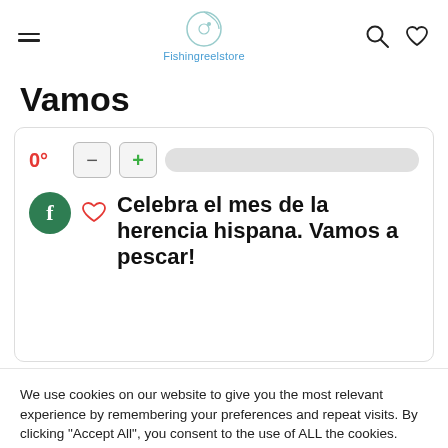Fishingreelstore
Vamos
[Figure (screenshot): Card with counter showing 0°, minus and plus buttons, progress bar, Facebook icon, heart icon, and bold Spanish text: Celebra el mes de la herencia hispana. Vamos a pescar!]
We use cookies on our website to give you the most relevant experience by remembering your preferences and repeat visits. By clicking “Accept All”, you consent to the use of ALL the cookies.
Cookie Settings | Accept All